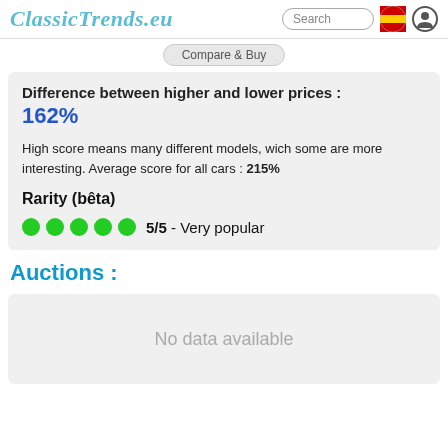ClassicTrends.eu
Difference between higher and lower prices : 162%
High score means many different models, wich some are more interesting. Average score for all cars : 215%
Rarity (bêta)
5/5 - Very popular
Auctions :
No data available